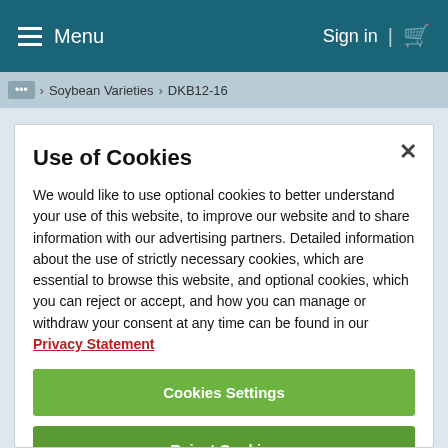Menu  Sign in
... > Soybean Varieties > DKB12-16
Use of Cookies
We would like to use optional cookies to better understand your use of this website, to improve our website and to share information with our advertising partners. Detailed information about the use of strictly necessary cookies, which are essential to browse this website, and optional cookies, which you can reject or accept, and how you can manage or withdraw your consent at any time can be found in our Privacy Statement
Cookies Settings
Reject Cookies
Accept Cookies